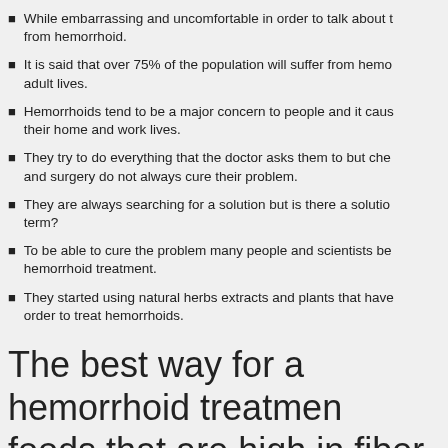While embarrassing and uncomfortable in order to talk about t... from hemorrhoid.
It is said that over 75% of the population will suffer from hemo... adult lives.
Hemorrhoids tend to be a major concern to people and it caus... their home and work lives.
They try to do everything that the doctor asks them to but che... and surgery do not always cure their problem.
They are always searching for a solution but is there a solutio... term?
To be able to cure the problem many people and scientists be... hemorrhoid treatment.
They started using natural herbs extracts and plants that have... order to treat hemorrhoids.
The best way for a hemorrhoid treatment foods that are high in fiber. Dietary fiber r promote digestive function and move foo